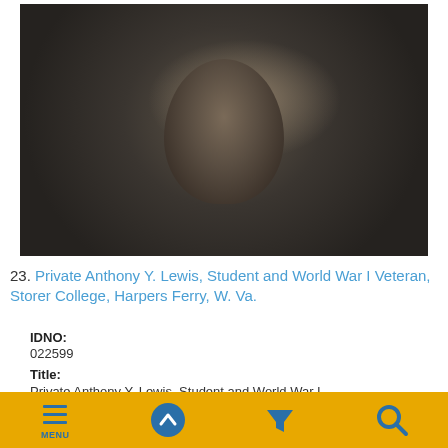[Figure (photo): Black and white historic portrait photograph of Private Anthony Y. Lewis, a young man in military attire, against a dark cloudy studio background.]
23. Private Anthony Y. Lewis, Student and World War I Veteran, Storer College, Harpers Ferry, W. Va.
IDNO:
022599
Title:
Private Anthony Y. Lewis, Student and World War I Veteran, Storer College, Harpers Ferry, W. Va.
MENU (navigation icons)